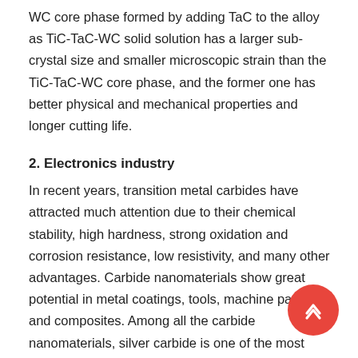WC core phase formed by adding TaC to the alloy as TiC-TaC-WC solid solution has a larger sub-crystal size and smaller microscopic strain than the TiC-TaC-WC core phase, and the former one has better physical and mechanical properties and longer cutting life.
2. Electronics industry
In recent years, transition metal carbides have attracted much attention due to their chemical stability, high hardness, strong oxidation and corrosion resistance, low resistivity, and many other advantages. Carbide nanomaterials show great potential in metal coatings, tools, machine parts, and composites. Among all the carbide nanomaterials, silver carbide is one of the most popular materials, and also one of the materials with the greatest potential. Tantalum carbide not only inherits many advantages of carbide nanomaterials, but also has its own unique side, such as high hardness (Mohs hardness is 9-10 at room temperature, high melting point (about 3880°C), high Young's modulus (283-550